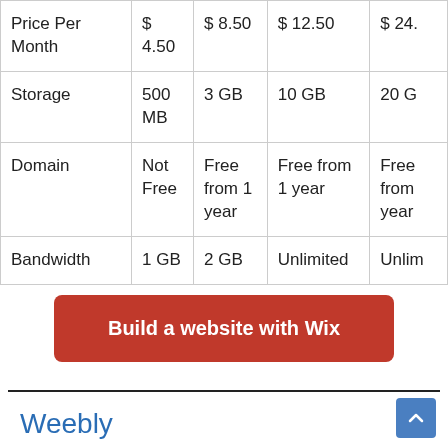| Price Per Month | $ 4.50 | $ 8.50 | $ 12.50 | $ 24. |
| Storage | 500 MB | 3 GB | 10 GB | 20 G |
| Domain | Not Free | Free from 1 year | Free from 1 year | Free from year |
| Bandwidth | 1 GB | 2 GB | Unlimited | Unlim |
Build a website with Wix
Weebly